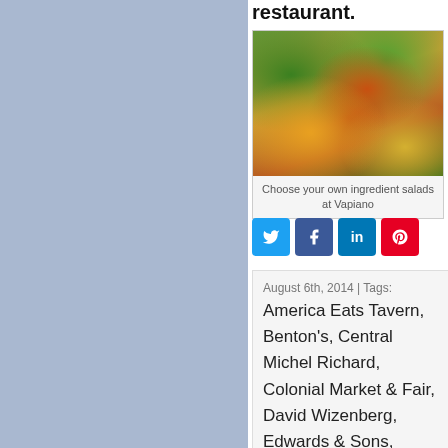restaurant.
[Figure (photo): A salad dish with shrimp, orange slices, green beans, and fresh dill at Vapiano restaurant]
Choose your own ingredient salads at Vapiano
[Figure (other): Social share buttons: Twitter, Facebook, LinkedIn, Pinterest]
August 6th, 2014 | Tags: America Eats Tavern, Benton's, Central Michel Richard, Colonial Market & Fair, David Wizenberg, Edwards & Sons, Fannie Farmer Cookbook, Garden Café, George Washington's Mount